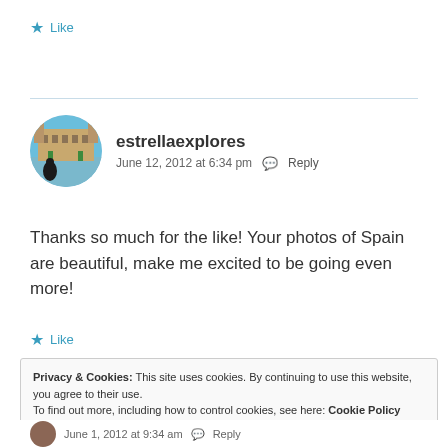★ Like
[Figure (photo): Circular avatar photo of estrellaexplores showing a Spanish plaza with ornate architecture]
estrellaexplores
June 12, 2012 at 6:34 pm  Reply
Thanks so much for the like! Your photos of Spain are beautiful, make me excited to be going even more!
★ Like
Privacy & Cookies: This site uses cookies. By continuing to use this website, you agree to their use.
To find out more, including how to control cookies, see here: Cookie Policy
Close and accept
June 1, 2012 at 9:34 am  Reply